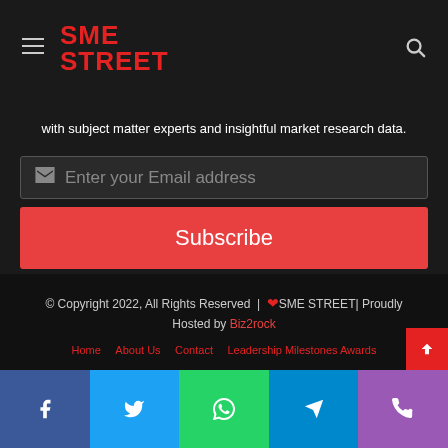SME STREET - hamburger menu and search icon header
in-depth analysis, context, and reliable information for the Indian SMEs to offer them a comprehensive pathway for their overall sustainability. With millions of SMEs operating in India, SME Street is determined to have a digital megastore to capitalize on e-commerce and blending of SME needs, personalized networking with subject matter experts and insightful market research data.
Enter your Email address
Subscribe
© Copyright 2022, All Rights Reserved | ❤ SME STREET| Proudly Hosted by Biz2rock
Home   About Us   Contact   Leadership Milestones Awards